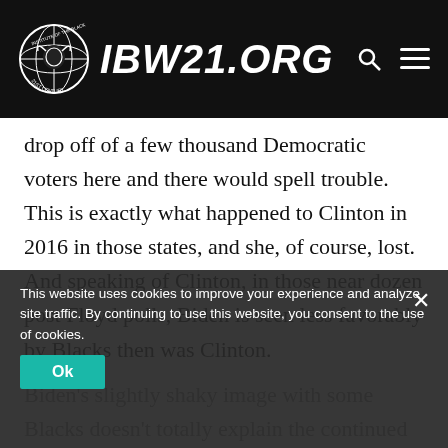IBW21.ORG
drop off of a few thousand Democratic voters here and there would spell trouble. This is exactly what happened to Clinton in 2016 in those states, and she, of course, lost. And speaking of Clinton, in those near dozen post Floyd polls, Biden is seen less favorably by Blacks then was Clinton.
Biden's slightly shaky image with some Blacks doesn't totally explain the continued infatuation with Trump from some Blacks. Kanye West gives some clue...
This website uses cookies to improve your experience and analyze site traffic. By continuing to use this website, you consent to the use of cookies. Ok